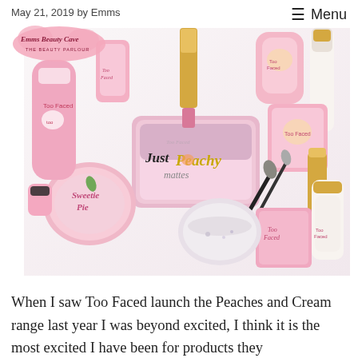May 21, 2019 by Emms
[Figure (photo): Too Faced Just Peachy Mattes cosmetics collection flatlay on white fur background, showing various pink-packaged makeup products including the Just Peachy Mattes palette, Sweetie Pie blush compact, lipstick, brushes, and skincare tubes]
When I saw Too Faced launch the Peaches and Cream range last year I was beyond excited, I think it is the most excited I have been for products they